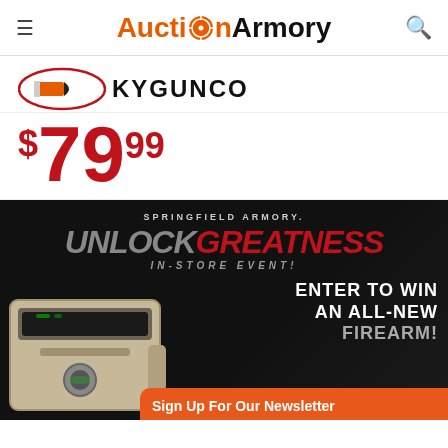Auction Armory
[Figure (logo): KYGUNCO logo with bullet illustration]
$79.99
[Figure (infographic): Springfield Armory UNLOCK GREATNESS IN-STORE EVENT! Enter to win an all-new firearm! Enter today. Dark background with gun safe image.]
Sign Up For Our Newsletter